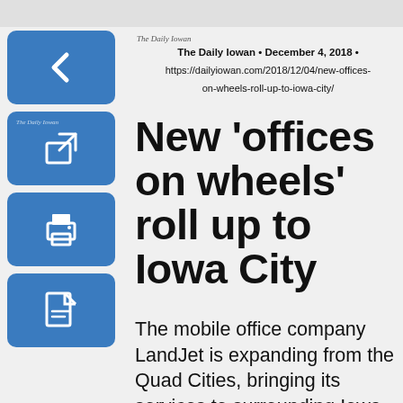[Figure (screenshot): Top navigation bar with grey background]
[Figure (screenshot): Blue back arrow icon button]
[Figure (screenshot): Blue edit/share icon button with small newspaper logo]
[Figure (screenshot): Blue print icon button]
[Figure (screenshot): Blue PDF/document icon button]
The Daily Iowan • December 4, 2018 • https://dailyiowan.com/2018/12/04/new-offices-on-wheels-roll-up-to-iowa-city/
New ‘offices on wheels’ roll up to Iowa City
The mobile office company LandJet is expanding from the Quad Cities, bringing its services to surrounding Iowa metropolitan areas, including Iowa City